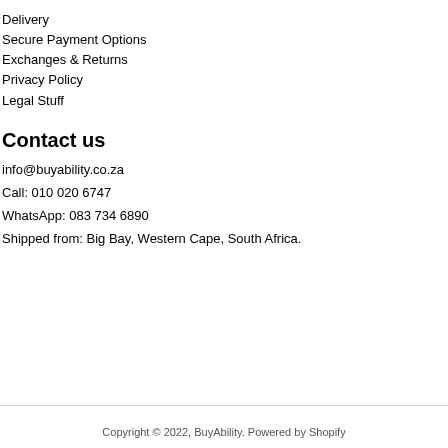Delivery
Secure Payment Options
Exchanges & Returns
Privacy Policy
Legal Stuff
Contact us
info@buyability.co.za
Call: 010 020 6747
WhatsApp: 083 734 6890
Shipped from: Big Bay, Western Cape, South Africa.
Copyright © 2022, BuyAbility. Powered by Shopify